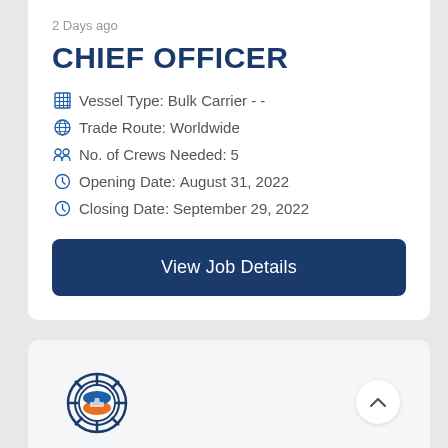2 Days ago
CHIEF OFFICER
Vessel Type: Bulk Carrier - -
Trade Route: Worldwide
No. of Crews Needed: 5
Opening Date: August 31, 2022
Closing Date: September 29, 2022
View Job Details
[Figure (logo): Ship steering wheel logo with orange/blue ship icon in center]